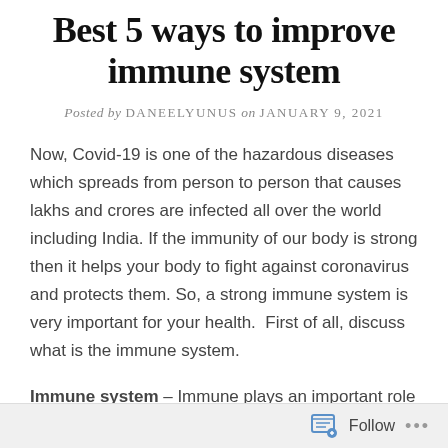Best 5 ways to improve immune system
Posted by DANEELYUNUS on JANUARY 9, 2021
Now, Covid-19 is one of the hazardous diseases which spreads from person to person that causes lakhs and crores are infected all over the world including India. If the immunity of our body is strong then it helps your body to fight against coronavirus and protects them. So, a strong immune system is very important for your health. First of all, discuss what is the immune system.
Immune system – Immune plays an important role in